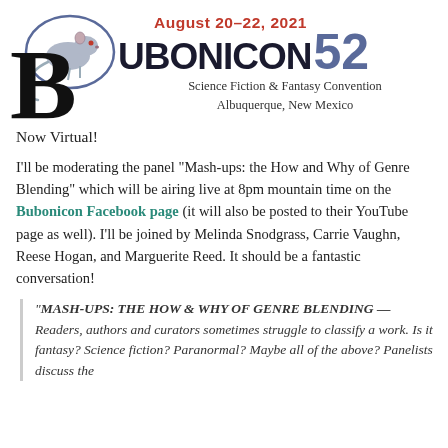[Figure (logo): Bubonicon 52 Science Fiction & Fantasy Convention logo with a rat illustration, date August 20-22 2021, and subtitle Albuquerque New Mexico]
Now Virtual!
I'll be moderating the panel “Mash-ups: the How and Why of Genre Blending” which will be airing live at 8pm mountain time on the Bubonicon Facebook page (it will also be posted to their YouTube page as well). I'll be joined by Melinda Snodgrass, Carrie Vaughn, Reese Hogan, and Marguerite Reed. It should be a fantastic conversation!
“MASH-UPS: THE HOW & WHY OF GENRE BLENDING — Readers, authors and curators sometimes struggle to classify a work. Is it fantasy? Science fiction? Paranormal? Maybe all of the above? Panelists discuss the